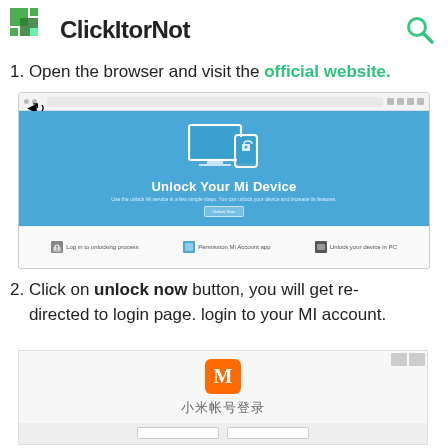ClickItorNot
1. Open the browser and visit the official website.
[Figure (screenshot): Screenshot of the Xiaomi Mi Unlock website showing 'Unlock Your Mi Device' hero section with a monitor and phone icon on blue background, and a footer strip with three feature icons.]
2. Click on unlock now button, you will get redirected to login page. login to your MI account.
[Figure (screenshot): Screenshot of Mi account login page showing the Mi logo (orange square with M), Chinese text '小米帐号登录' (Mi Account Login), and login form fields.]